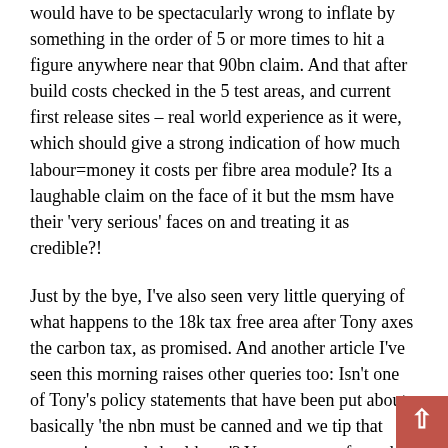would have to be spectacularly wrong to inflate by something in the order of 5 or more times to hit a figure anywhere near that 90bn claim. And that after build costs checked in the 5 test areas, and current first release sites – real world experience as it were, which should give a strong indication of how much labour=money it costs per fibre area module? Its a laughable claim on the face of it but the msm have their 'very serious' faces on and treating it as credible?!
Just by the bye, I've also seen very little querying of what happens to the 18k tax free area after Tony axes the carbon tax, as promised. And another article I've seen this morning raises other queries too: Isn't one of Tony's policy statements that have been put about basically 'the nbn must be canned and we tip that money into roads health etc'? Yet you see – from the Newman govt no less! Tony has no proven intent to follow through on roads?